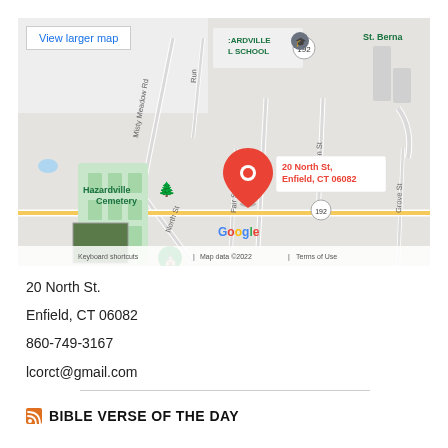[Figure (map): Google Maps screenshot showing 20 North St, Enfield, CT 06082 with a red location pin. Shows surrounding streets including Misty Meadow Rd, Cedar St, Allen St, Grove St, Fair St, North St. Nearby landmarks include Hazardville Cemetery and HAZARDVILLE L SCHOOL. Route 192 is visible. Bottom bar shows 'Keyboard shortcuts | Map data ©2022 | Terms of Use'. A 'View larger map' button appears in upper left.]
20 North St.
Enfield, CT 06082
860-749-3167
lcorct@gmail.com
BIBLE VERSE OF THE DAY